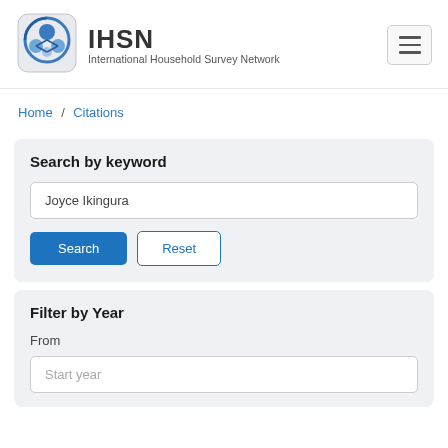[Figure (logo): IHSN International Household Survey Network logo with circular blue icon showing connected figures]
IHSN International Household Survey Network
Home / Citations
Search by keyword
Joyce Ikingura
Search  Reset
Filter by Year
From
Start year